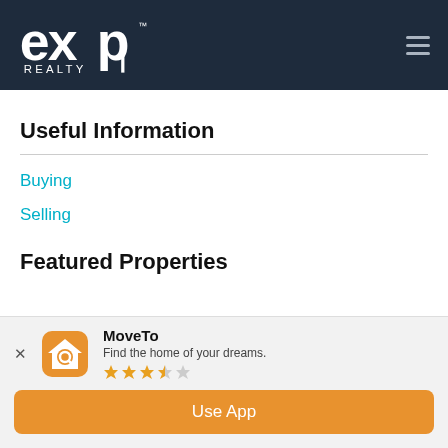[Figure (logo): eXp Realty logo in white on dark navy background, with hamburger menu icon on the right]
Useful Information
Buying
Selling
Featured Properties
[Figure (screenshot): MoveTo app install banner: orange house icon with magnifying glass, app name MoveTo, tagline 'Find the home of your dreams.', 3.5-star rating, and orange 'Use App' button]